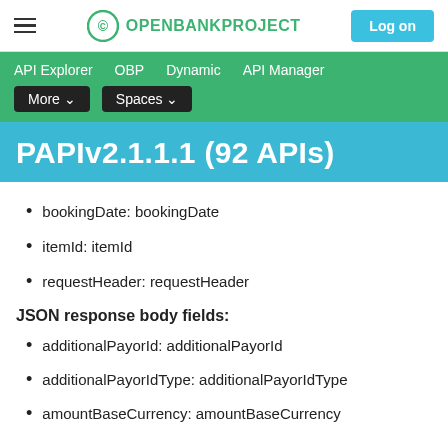OPENBANKPROJECT | Log on
API Explorer  OBP  Dynamic  API Manager  More ▾  Spaces ▾
PAPIv2.1.1.1 (92 APIs)
bookingDate: bookingDate
itemId: itemId
requestHeader: requestHeader
JSON response body fields:
additionalPayorId: additionalPayorId
additionalPayorIdType: additionalPayorIdType
amountBaseCurrency: amountBaseCurrency